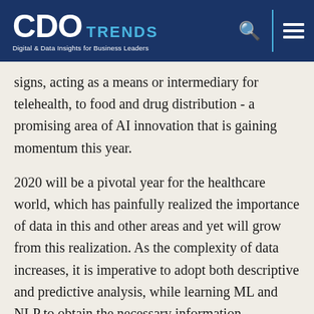CDO TRENDS — Digital & Data Insights for Business Leaders
signs, acting as a means or intermediary for telehealth, to food and drug distribution - a promising area of AI innovation that is gaining momentum this year.
2020 will be a pivotal year for the healthcare world, which has painfully realized the importance of data in this and other areas and yet will grow from this realization. As the complexity of data increases, it is imperative to adopt both descriptive and predictive analysis, while learning ML and NLP to obtain the necessary information. However, we will need to be able to ask the right questions, so that advances in technology do not come at the expense of ethics.